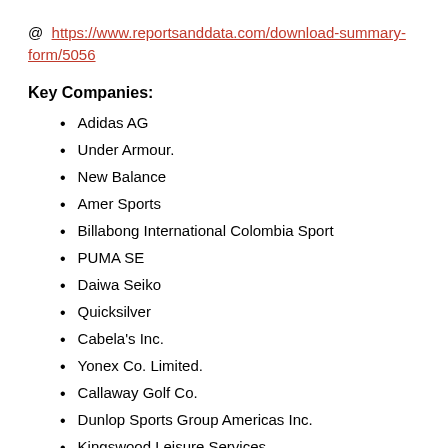@ https://www.reportsanddata.com/download-summary-form/5056
Key Companies:
Adidas AG
Under Armour.
New Balance
Amer Sports
Billabong International Colombia Sport
PUMA SE
Daiwa Seiko
Quicksilver
Cabela's Inc.
Yonex Co. Limited.
Callaway Golf Co.
Dunlop Sports Group Americas Inc.
Kingswood Leisure Services
Sports Direct International PLC